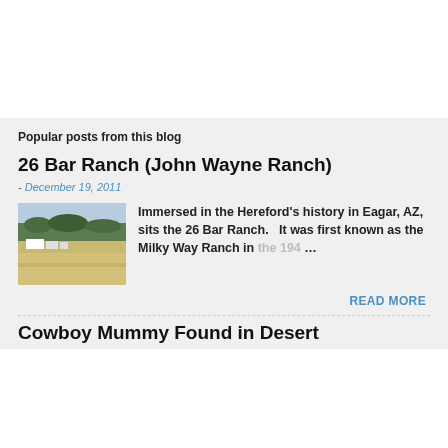Popular posts from this blog
26 Bar Ranch (John Wayne Ranch)
- December 19, 2011
[Figure (photo): Aerial or landscape photo of a ranch in a desert/forested area, showing buildings and open land.]
Immersed in the Hereford's history in Eagar, AZ, sits the 26 Bar Ranch.   It was first known as the Milky Way Ranch in the 194 …
READ MORE
Cowboy Mummy Found in Desert